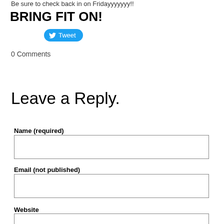Be sure to check back in on Fridayyyyyyy!!
BRING FIT ON!
[Figure (other): Twitter Tweet button with bird logo]
0 Comments
Leave a Reply.
Name (required)
Email (not published)
Website